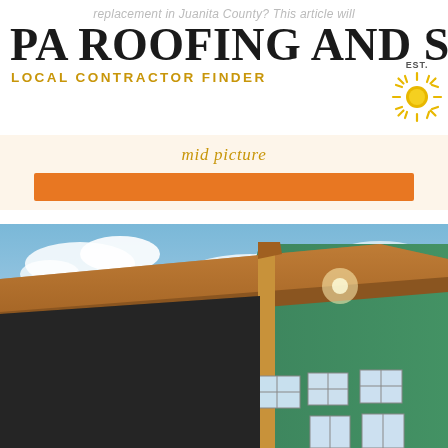replacement in Juanita County? This article will
PA ROOFING AND SOLA
LOCAL CONTRACTOR FINDER
[Figure (logo): Sun icon with rays, golden/yellow color, next to EST. text]
mid picture
[Figure (photo): Low-angle photo of a building under construction showing exposed wooden roof framing, green-painted exterior wall sheathing, and blue sky with clouds in the background.]